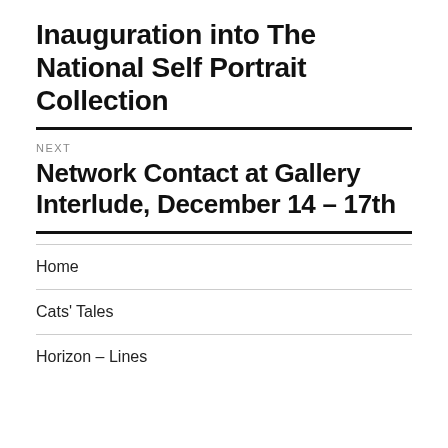Inauguration into The National Self Portrait Collection
NEXT
Network Contact at Gallery Interlude, December 14 – 17th
Home
Cats' Tales
Horizon – Lines